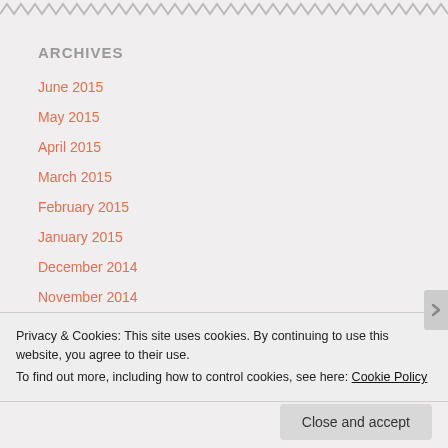ARCHIVES
June 2015
May 2015
April 2015
March 2015
February 2015
January 2015
December 2014
November 2014
Privacy & Cookies: This site uses cookies. By continuing to use this website, you agree to their use.
To find out more, including how to control cookies, see here: Cookie Policy
Close and accept